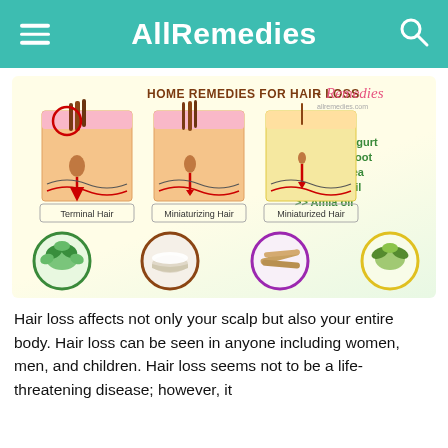AllRemedies
[Figure (infographic): Infographic titled 'HOME REMEDIES FOR HAIR LOSS - Remedies' showing three cross-section diagrams of scalp hair stages (Terminal Hair, Miniaturizing Hair, Miniaturized Hair) and four circular food images (neem leaves, greek yogurt, licorice root, green tea). Lists remedies: Neem, Greek Yogurt, Licorice Root, Green Tea, Almond oil, Amla oil. Site: allremedies.com]
Hair loss affects not only your scalp but also your entire body. Hair loss can be seen in anyone including women, men, and children. Hair loss seems not to be a life-threatening disease; however, it